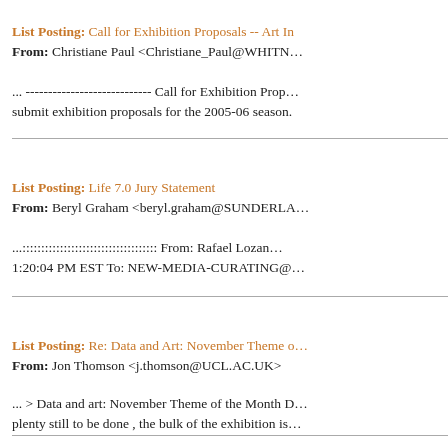List Posting: Call for Exhibition Proposals -- Art In
From: Christiane Paul <Christiane_Paul@WHITN…
... ---------------------------- Call for Exhibition Prop… submit exhibition proposals for the 2005-06 season.
List Posting: Life 7.0 Jury Statement
From: Beryl Graham <beryl.graham@SUNDERLA…
...:::::::::::::::::::::::::::::::::::: From: Rafael Lozan… 1:20:04 PM EST To: NEW-MEDIA-CURATING@…
List Posting: Re: Data and Art: November Theme o…
From: Jon Thomson <j.thomson@UCL.AC.UK>
... > Data and art: November Theme of the Month D… plenty still to be done , the bulk of the exhibition is…